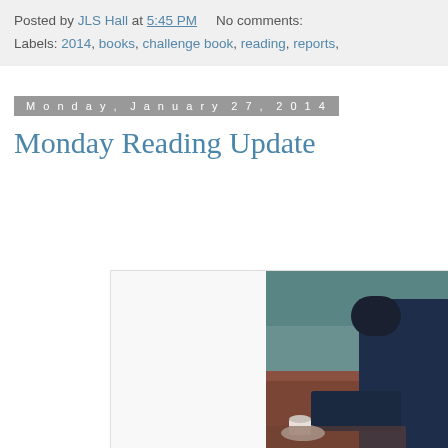Posted by JLS Hall at 5:45 PM    No comments:
Labels: 2014, books, challenge book, reading, reports,
Monday, January 27, 2014
Monday Reading Update
[Figure (photo): A painting showing a person sitting at a table, reading or writing, with a teacup on the table. Background shows greenish-blue and reddish-brown tones. Person is wearing a dark jacket.]